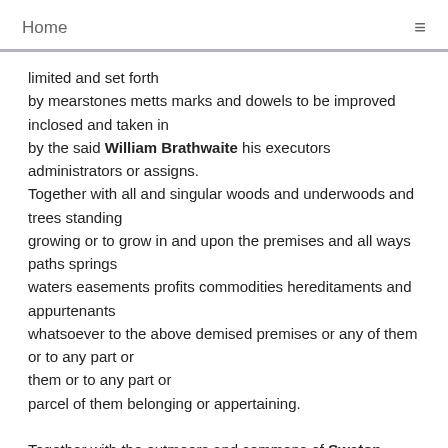Home
limited and set forth
by mearstones metts marks and dowels to be improved inclosed and taken in
by the said William Brathwaite his executors administrators or assigns.
Together with all and singular woods and underwoods and trees standing
growing or to grow in and upon the premises and all ways paths springs
waters easements profits commodities hereditaments and appurtenants
whatsoever to the above demised premises or any of them or to any part or
parcel of them belonging or appertaining.

Together with the outmoors and commons of Sweton aforesaid to be